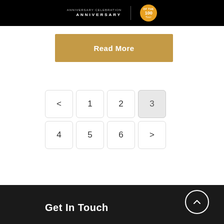ANNIVERSARY | Tour
[Figure (logo): Anniversary logo with text and orange circular badge on black header bar]
Read More
< 1 2 3 4 5 6 >
Get In Touch